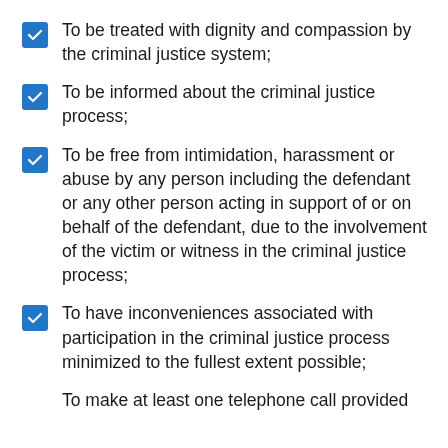To be treated with dignity and compassion by the criminal justice system;
To be informed about the criminal justice process;
To be free from intimidation, harassment or abuse by any person including the defendant or any other person acting in support of or on behalf of the defendant, due to the involvement of the victim or witness in the criminal justice process;
To have inconveniences associated with participation in the criminal justice process minimized to the fullest extent possible;
To make at least one telephone call provided